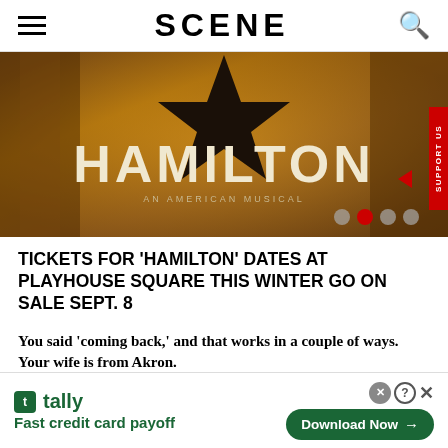SCENE
[Figure (photo): Hamilton: An American Musical promotional banner image with large gold/bronze background, black star, and white HAMILTON text]
TICKETS FOR 'HAMILTON' DATES AT PLAYHOUSE SQUARE THIS WINTER GO ON SALE SEPT. 8
You said 'coming back,' and that works in a couple of ways. Your wife is from Akron.
[Figure (screenshot): Tally app advertisement banner: Fast credit card payoff with Download Now button]